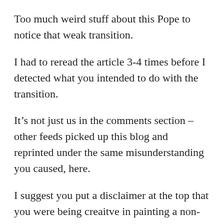Too much weird stuff about this Pope to notice that weak transition.
I had to reread the article 3-4 times before I detected what you intended to do with the transition.
It’s not just us in the comments section – other feeds picked up this blog and reprinted under the same misunderstanding you caused, here.
I suggest you put a disclaimer at the top that you were being creaitve in painting a non-existent scenario.
Like